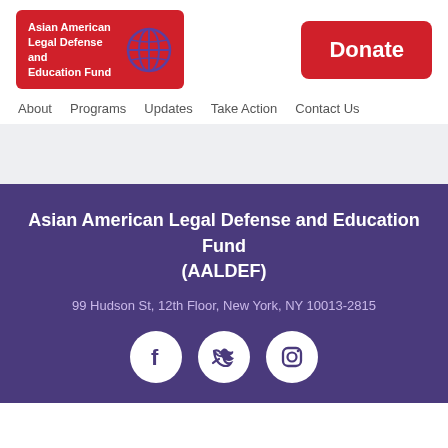[Figure (logo): Asian American Legal Defense and Education Fund logo — red rounded rectangle with white bold text and a globe/grid icon]
[Figure (other): Red Donate button]
About  Programs  Updates  Take Action  Contact Us
Asian American Legal Defense and Education Fund (AALDEF)
99 Hudson St, 12th Floor, New York, NY 10013-2815
[Figure (other): Social media icons: Facebook, Twitter, Instagram in white circles on purple background]